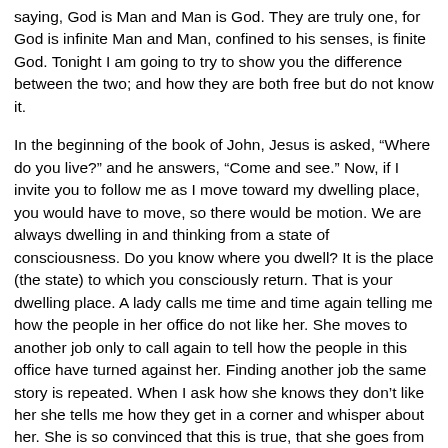saying, God is Man and Man is God. They are truly one, for God is infinite Man and Man, confined to his senses, is finite God. Tonight I am going to try to show you the difference between the two; and how they are both free but do not know it.
In the beginning of the book of John, Jesus is asked, “Where do you live?” and he answers, “Come and see.” Now, if I invite you to follow me as I move toward my dwelling place, you would have to move, so there would be motion. We are always dwelling in and thinking from a state of consciousness. Do you know where you dwell? It is the place (the state) to which you consciously return. That is your dwelling place. A lady calls me time and time again telling me how the people in her office do not like her. She moves to another job only to call again to tell how the people in this office have turned against her. Finding another job the same story is repeated. When I ask how she knows they don’t like her she tells me how they get in a corner and whisper about her. She is so convinced that this is true, that she goes from job to job to job finding only those who dislike her and although I tell her that the world is all imagination, she cannot believe it. But I tell you, the world without, which appears so very real, is a world of imagination. Imagine people are against you, that they are constantly talking about you and you will go from job to job and watch the same experiences repeat themselves, for people are only personifying your thoughts. So where are you dwelling?